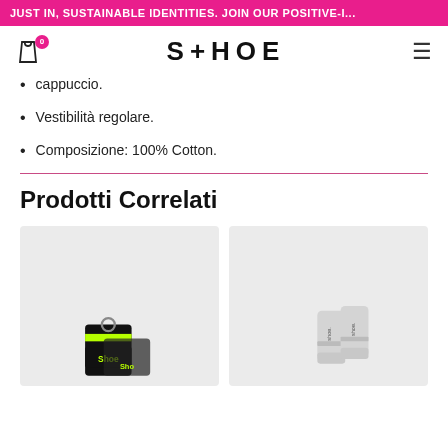JUST IN, SUSTAINABLE IDENTITIES. JOIN OUR POSITIVE-I...
[Figure (logo): SHOE brand logo with cart icon and hamburger menu]
cappuccio.
Vestibilità regolare.
Composizione: 100% Cotton.
Prodotti Correlati
[Figure (photo): Product photo of a black keychain with neon green Shoe brand logo]
[Figure (photo): Product photo of grey ankle socks with Shoe. text branding]